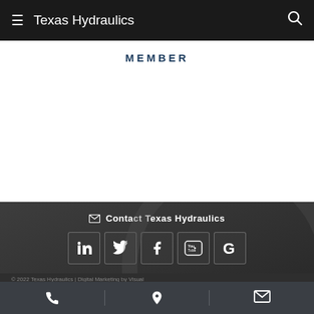Texas Hydraulics
MEMBER
Contact Texas Hydraulics
[Figure (screenshot): Social media icons row: LinkedIn, Twitter, Facebook, YouTube, Google]
© 2022 Texas Hydraulics | Digital Marketing by Visual
[Figure (infographic): Bottom navigation bar with phone, location pin, and email icons]